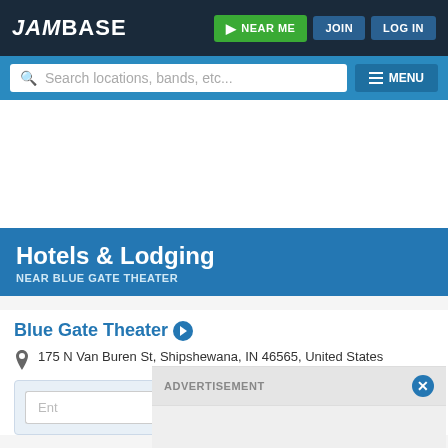JamBase — NEAR ME   JOIN   LOG IN
Search locations, bands, etc...   MENU
Hotels & Lodging
NEAR BLUE GATE THEATER
Blue Gate Theater
175 N Van Buren St, Shipshewana, IN 46565, United States
ADVERTISEMENT